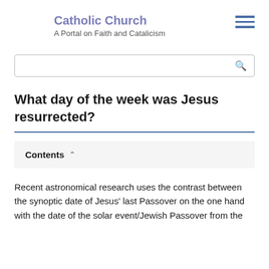Catholic Church
A Portal on Faith and Catalicism
What day of the week was Jesus resurrected?
Contents
Recent astronomical research uses the contrast between the synoptic date of Jesus' last Passover on the one hand with the date of the solar event/Jewish Passover from the